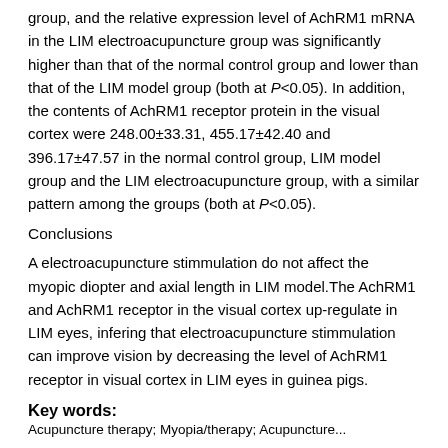group, and the relative expression level of AchRM1 mRNA in the LIM electroacupuncture group was significantly higher than that of the normal control group and lower than that of the LIM model group (both at P<0.05). In addition, the contents of AchRM1 receptor protein in the visual cortex were 248.00±33.31, 455.17±42.40 and 396.17±47.57 in the normal control group, LIM model group and the LIM electroacupuncture group, with a similar pattern among the groups (both at P<0.05).
Conclusions
A electroacupuncture stimmulation do not affect the myopic diopter and axial length in LIM model.The AchRM1 and AchRM1 receptor in the visual cortex up-regulate in LIM eyes, infering that electroacupuncture stimmulation can improve vision by decreasing the level of AchRM1 receptor in visual cortex in LIM eyes in guinea pigs.
Key words:
Acupuncture therapy; Myopia/therapy; Acupuncture...